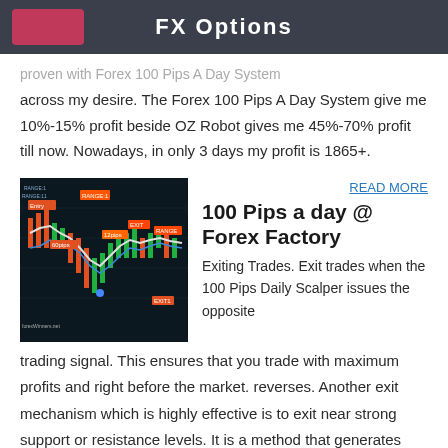FX Options
proven with Forex 100 Pips A Day System across my desire. The Forex 100 Pips A Day System give me 10%-15% profit beside OZ Robot gives me 45%-70% profit till now. Nowadays, in only 3 days my profit is 1865+.
[Figure (screenshot): Forex trading chart showing candlestick price action with moving averages and colored range labels on a dark background]
READ MORE
100 Pips a day @ Forex Factory
Exiting Trades. Exit trades when the 100 Pips Daily Scalper issues the opposite trading signal. This ensures that you trade with maximum profits and right before the market. reverses. Another exit mechanism which is highly effective is to exit near strong support or resistance levels. It is a method that generates exits earlier, so you take
[Figure (screenshot): Another forex chart screenshot at the bottom of the page]
READ MORE